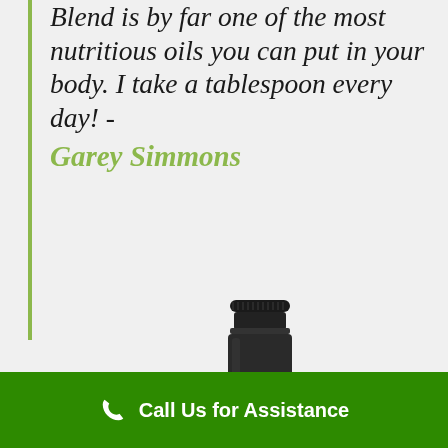Blend is by far one of the most nutritious oils you can put in your body. I take a tablespoon every day! - Garey Simmons
[Figure (photo): Dark bottle with black cap, partially visible — appears to be an oil or supplement bottle]
Call Us for Assistance